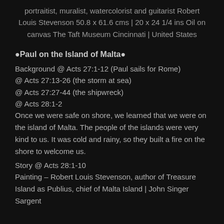portraitist, muralist, watercolorist and guitarist Robert Louis Stevenson 50.8 x 61.6 cms | 20 x 24 1/4 ins Oil on canvas The Taft Museum Cincinnati | United States
•Paul on the Island of Malta•
Background @ Acts 27:1-12 (Paul sails for Rome)
@ Acts 27:13-26 (the storm at sea)
@ Acts 27:27-44 (the shipwreck)
@ Acts 28:1-2
Once we were safe on shore, we learned that we were on the island of Malta. The people of the islands were very kind to us. It was cold and rainy, so they built a fire on the shore to welcome us.
Story @ Acts 28:1-10
Painting – Robert Louis Stevenson, author of Treasure Island as Publius, chief of Malta Island | John Singer Sargent